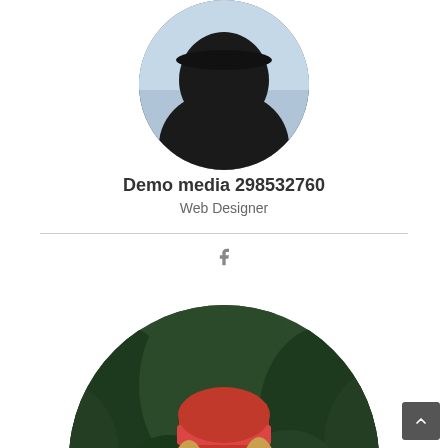[Figure (photo): Circular cropped profile photo showing a person in black attire, partially visible at top of page]
Demo media 298532760
Web Designer
[Figure (photo): Circular cropped photo of a woman wearing a red beanie hat, holding a camera up to her face, with green pine trees in the background]
[Figure (other): Back to top button with upward arrow chevron in bottom right corner]